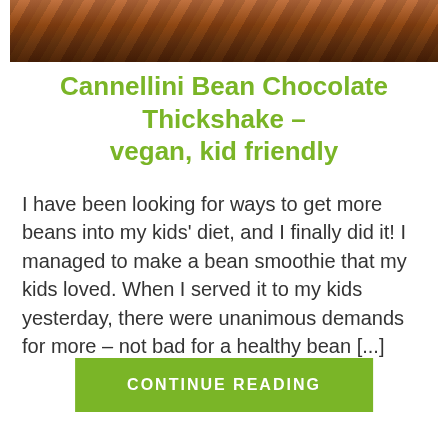[Figure (photo): Photo of chocolate thickshake ingredients including dates and other items on a surface]
Cannellini Bean Chocolate Thickshake – vegan, kid friendly
I have been looking for ways to get more beans into my kids' diet, and I finally did it! I managed to make a bean smoothie that my kids loved. When I served it to my kids yesterday, there were unanimous demands for more – not bad for a healthy bean [...]
CONTINUE READING